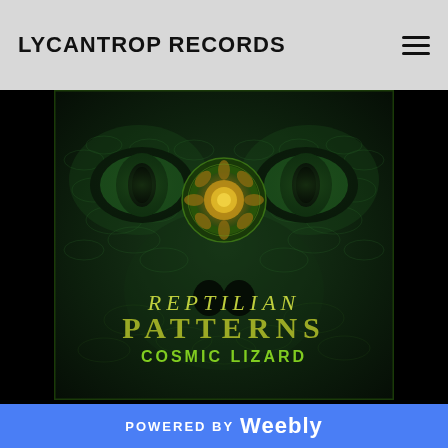LYCANTROP RECORDS
[Figure (illustration): Album cover art for 'Reptilian Patterns' by Cosmic Lizard on Lycantrop Records. Dark green reptilian/lizard eyes with intricate scale patterns, a central mandala-like ornament in gold/green tones. Text overlay reads 'Reptilian Patterns' and 'Cosmic Lizard' in stylized fonts.]
TRACKLIST
1) THE HUNT - 160BPM
POWERED BY Weebly